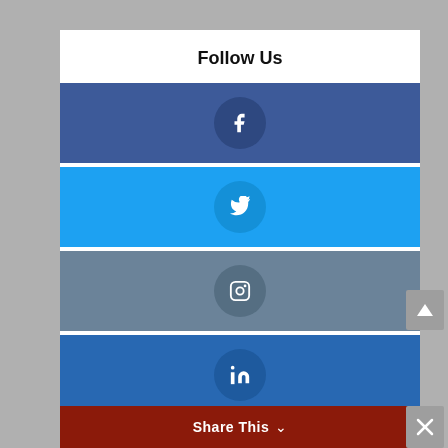Follow Us
[Figure (infographic): Social media follow buttons: Facebook (dark blue bar with f icon circle), Twitter (cyan bar with bird icon circle), Instagram (slate blue bar with camera icon circle), LinkedIn (blue bar with in icon circle), Pinterest (red bar with p icon circle)]
Share This
[Figure (other): Share This bar at bottom with chevron down arrow and close X button]